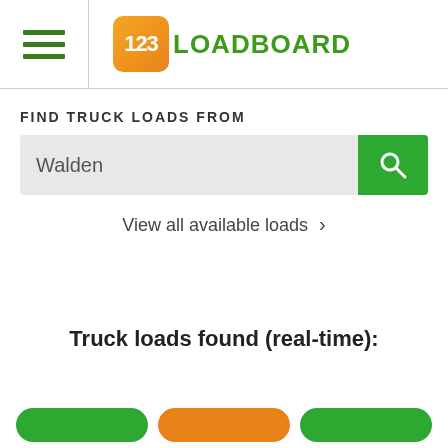123LOADBOARD
FIND TRUCK LOADS FROM
Walden
View all available loads >
Truck loads found (real-time):